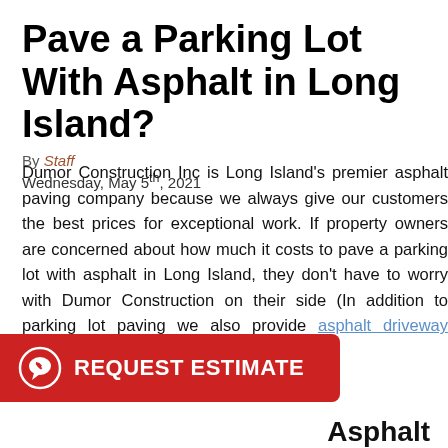Pave a Parking Lot With Asphalt in Long Island?
By Staff
Wednesday, May 5th, 2021
Dumor Construction Inc is Long Island's premier asphalt paving company because we always give our customers the best prices for exceptional work. If property owners are concerned about how much it costs to pave a parking lot with asphalt in Long Island, they don't have to worry with Dumor Construction on their side (In addition to parking lot paving we also provide asphalt driveway paving in Long Island NY).
[Figure (other): Red REQUEST ESTIMATE button bar with phone/chat icon on the left]
Asphalt